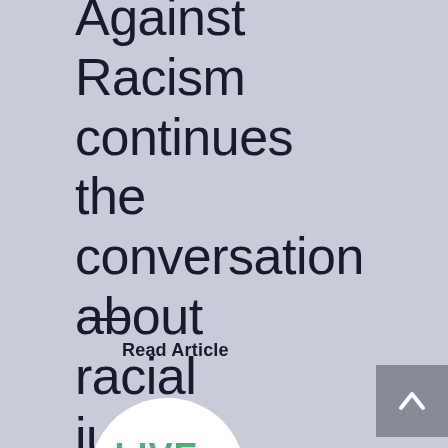Against Racism continues the conversation about racial justice
—
Read Article
[Figure (logo): Live Girl logo in green text inside a white circle]
[Figure (other): Back to top button with upward chevron arrow on grey background]